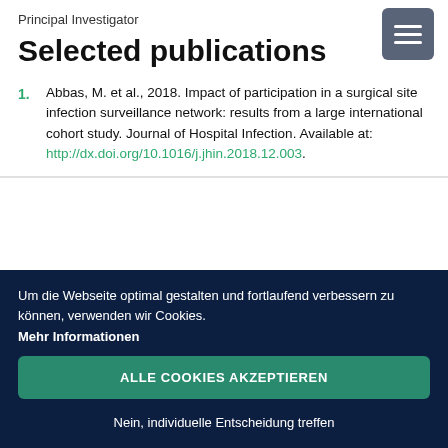Principal Investigator
Selected publications
1. Abbas, M. et al., 2018. Impact of participation in a surgical site infection surveillance network: results from a large international cohort study. Journal of Hospital Infection. Available at: http://dx.doi.org/10.1016/j.jhin.2018.12.003.
Um die Webseite optimal gestalten und fortlaufend verbessern zu können, verwenden wir Cookies.
Mehr Informationen
ALLE COOKIES AKZEPTIEREN
Nein, individuelle Entscheidung treffen